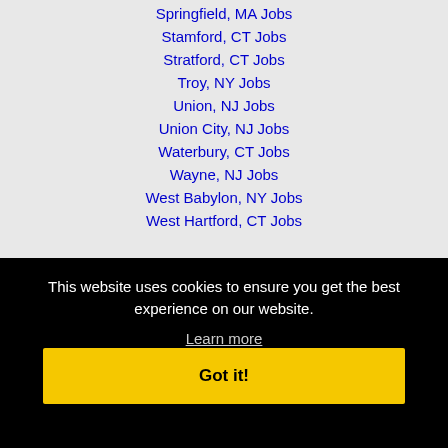Springfield, MA Jobs
Stamford, CT Jobs
Stratford, CT Jobs
Troy, NY Jobs
Union, NJ Jobs
Union City, NJ Jobs
Waterbury, CT Jobs
Wayne, NJ Jobs
West Babylon, NY Jobs
West Hartford, CT Jobs
This website uses cookies to ensure you get the best experience on our website.
Learn more
Got it!